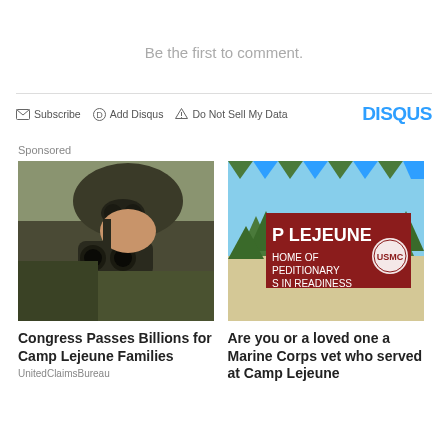Be the first to comment.
Subscribe  Add Disqus  Do Not Sell My Data  DISQUS
Sponsored
[Figure (photo): Soldier in combat helmet looking through binoculars]
Congress Passes Billions for Camp Lejeune Families
UnitedClaimsBureau
[Figure (illustration): Camp Lejeune sign illustration reading 'P LEJEUNE HOME OF PEDITIONARY S IN READINESS' with trees and Marine Corps emblem]
Are you or a loved one a Marine Corps vet who served at Camp Lejeune
served at Camp Lejeune